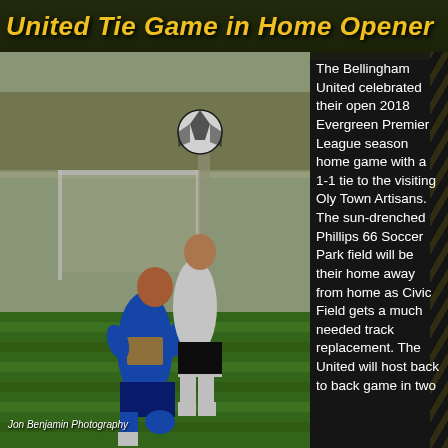United Tie Game in Home Opener
[Figure (photo): Action photo of two soccer players — one in blue jersey (Bellingham United) and one in white — competing for a header near a goal, with a soccer ball visible in the air. The photo credit reads 'Jon Benjamin Photography'.]
The Bellingham United celebrated their open 2018 Evergreen Premier League season home game with a 1-1 tie to the visiting Oly Town Artisans. The sun-drenched Phillips 66 Soccer Park field will be their home away from home as Civic Field gets a much needed track replacement. The United will host back to back game in two